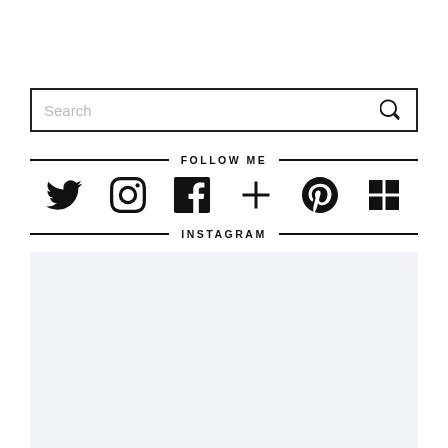Search
FOLLOW ME
[Figure (infographic): Social media icons row: Twitter, Instagram, Facebook, Google+, Pinterest, Flickr]
INSTAGRAM
[Figure (other): Light blue/grey Instagram feed placeholder block]